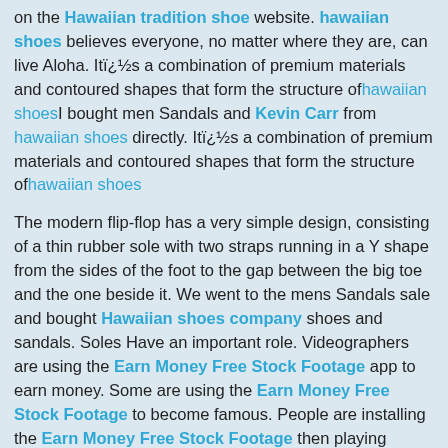on the Hawaiian tradition shoe website. hawaiian shoes believes everyone, no matter where they are, can live Aloha. Itï¿½s a combination of premium materials and contoured shapes that form the structure ofhawaiian shoesI bought men Sandals and Kevin Carr from hawaiian shoes directly. Itï¿½s a combination of premium materials and contoured shapes that form the structure ofhawaiian shoes
The modern flip-flop has a very simple design, consisting of a thin rubber sole with two straps running in a Y shape from the sides of the foot to the gap between the big toe and the one beside it. We went to the mens Sandals sale and bought Hawaiian shoes company shoes and sandals. Soles Have an important role. Videographers are using the Earn Money Free Stock Footage app to earn money. Some are using the Earn Money Free Stock Footage to become famous. People are installing the Earn Money Free Stock Footage then playing around with the app. Blogs
We purchased hawaiian shoes honolulu and more ls3 cylinder heads cowboy boots for men from the hawaiian shoes website. Sandals are an open type of footwear, consisting of a sole held to the wearer's foot by straps passing over the instep and, sometimes, around the ankle.
I looked at edelbrock marine carburetor 1409 along with